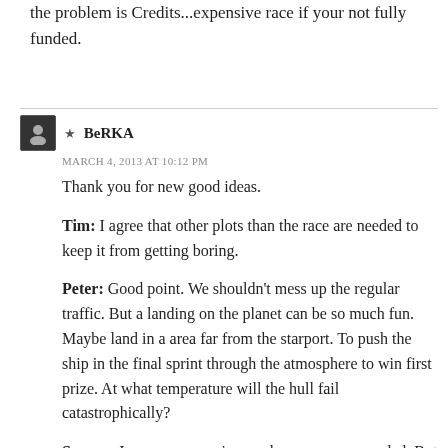the problem is Credits...expensive race if your not fully funded.
★ BeRKA
MARCH 4, 2013 AT 10:12 PM
Thank you for new good ideas.

Tim: I agree that other plots than the race are needed to keep it from getting boring.

Peter: Good point. We shouldn't mess up the regular traffic. But a landing on the planet can be so much fun. Maybe land in a area far from the starport. To push the ship in the final sprint through the atmosphere to win first prize. At what temperature will the hull fail catastrophically?

Savage: I agree, more prizes and sponsors are needed. But